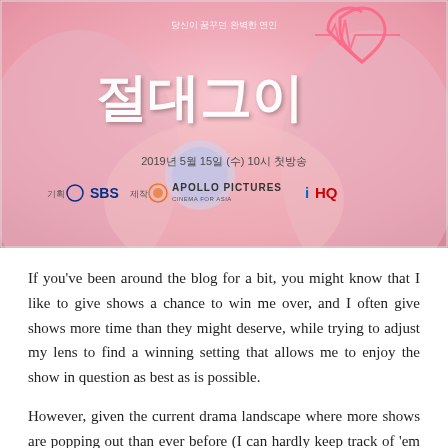[Figure (photo): Korean drama poster for '절대그이' (Absolute Boyfriend) showing Korean title text in white, a heart logo, subtitle text '당신이 꿈꾸던 완벽한 연인', broadcast date '2019년 5월 15일 (수) 10시 첫방송', and logos for SBS, Apollo Pictures, and iHQ, over a pink romantic background.]
If you've been around the blog for a bit, you might know that I like to give shows a chance to win me over, and I often give shows more time than they might deserve, while trying to adjust my lens to find a winning setting that allows me to enjoy the show in question as best as is possible.
However, given the current drama landscape where more shows are popping out than ever before (I can hardly keep track of 'em all!), drama quality is more patchy than ever (some wonderful gems, but also, so many duds!), and everyone's drama tastes